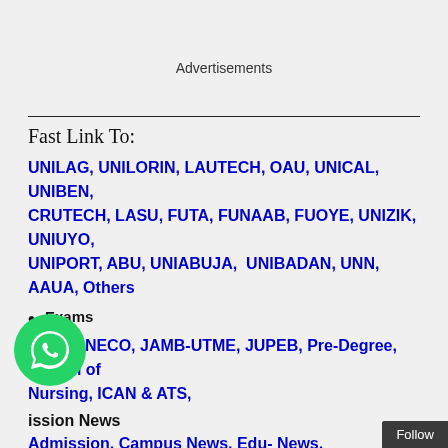Advertisements
Fast Link To:
UNILAG, UNILORIN, LAUTECH, OAU, UNICAL, UNIBEN, CRUTECH, LASU, FUTA, FUNAAB, FUOYE, UNIZIK, UNIUYO, UNIPORT, ABU, UNIABUJA, UNIBADAN, UNN, AAUA, Others
Exams
WAEC, NECO, JAMB-UTME, JUPEB, Pre-Degree, School of Nursing, ICAN & ATS,
ission News
Admission, Campus News, Edu- News, MySchoolGist, Current School News